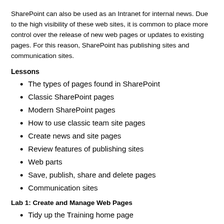SharePoint can also be used as an Intranet for internal news. Due to the high visibility of these web sites, it is common to place more control over the release of new web pages or updates to existing pages. For this reason, SharePoint has publishing sites and communication sites.
Lessons
The types of pages found in SharePoint
Classic SharePoint pages
Modern SharePoint pages
How to use classic team site pages
Create news and site pages
Review features of publishing sites
Web parts
Save, publish, share and delete pages
Communication sites
Lab 1: Create and Manage Web Pages
Tidy up the Training home page
Add rich content